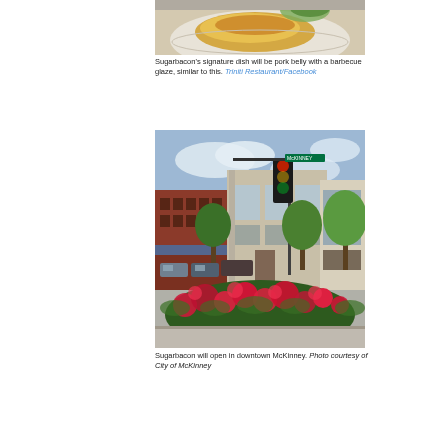[Figure (photo): Close-up photo of a dish, showing what appears to be pork belly with a glaze, on a white plate with garnish.]
Sugarbacon's signature dish will be pork belly with a barbecue glaze, similar to this. Triniti Restaurant/Facebook
[Figure (photo): Street-level photo of downtown McKinney with historic brick buildings, traffic light, green trees, and red rose bushes in the foreground.]
Sugarbacon will open in downtown McKinney. Photo courtesy of City of McKinney